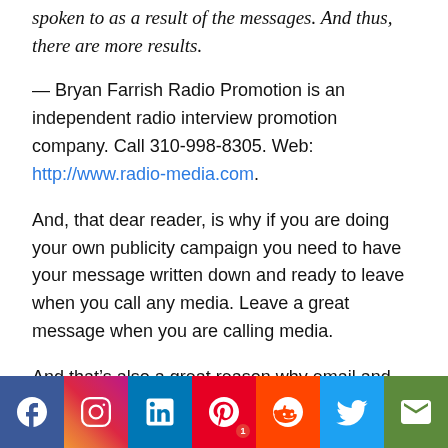spoken to as a result of the messages. And thus, there are more results.
— Bryan Farrish Radio Promotion is an independent radio interview promotion company. Call 310-998-8305. Web: http://www.radio-media.com.
And, that dear reader, is why if you are doing your own publicity campaign you need to have your message written down and ready to leave when you call any media. Leave a great message when you are calling media.
And that's also a great reason why email and faxes still work well. They are different ways of sending and/or